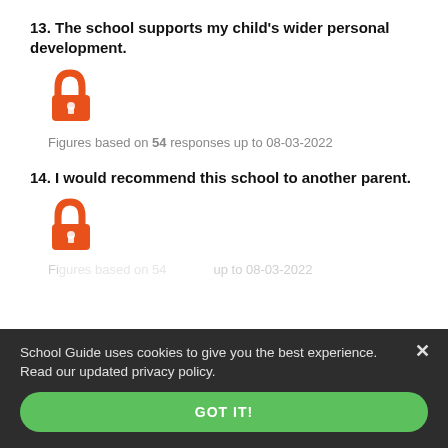13. The school supports my child's wider personal development.
[Figure (other): Orange open padlock icon indicating unlocked/public data]
Figures based on 54 responses up to 08-03-2022
14. I would recommend this school to another parent.
[Figure (other): Orange open padlock icon indicating unlocked/public data]
Figures based on 54 responses up to 08-03-2022
School Guide uses cookies to give you the best experience. Read our updated privacy policy.
GOT IT!